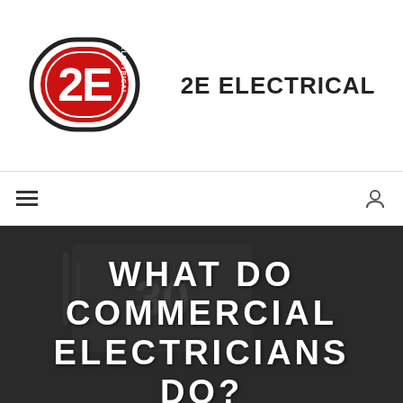[Figure (logo): 2E Electrical logo: black oval border with red interior shape containing white '2E' text and 'ELECTRICAL' text on the side, followed by bold '2E ELECTRICAL' text]
≡ (hamburger menu) and user icon
WHAT DO COMMERCIAL ELECTRICIANS DO?
Electricians are the professionals that keep our soc functioning. Without electricity, can you imagine wh